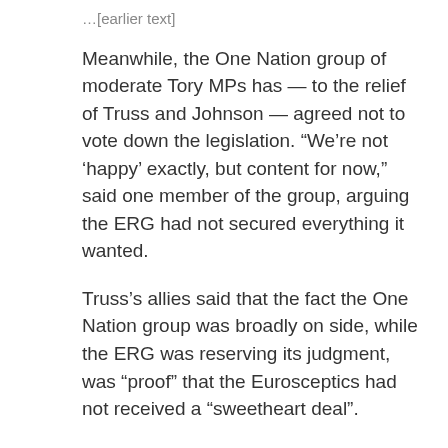Meanwhile, the One Nation group of moderate Tory MPs has — to the relief of Truss and Johnson — agreed not to vote down the legislation. “We’re not ‘happy’ exactly, but content for now,” said one member of the group, arguing the ERG had not secured everything it wanted.
Truss’s allies said that the fact the One Nation group was broadly on side, while the ERG was reserving its judgment, was “proof” that the Eurosceptics had not received a “sweetheart deal”.
Privately, many moderate Tory MPs are relying on the House of Lords to amend and delay the bill — probably for months.
“It has been suggested we’ll lose the whip,” admitted one MP, who said he would probably be